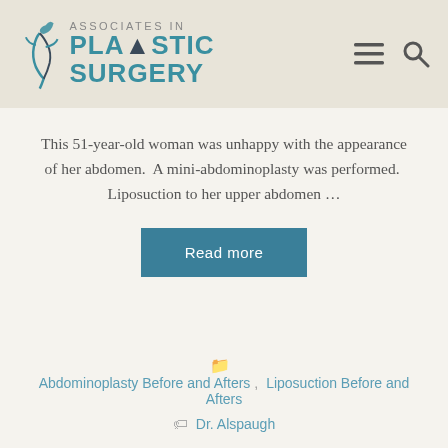Associates in Plastic Surgery
This 51-year-old woman was unhappy with the appearance of her abdomen.  A mini-abdominoplasty was performed.  Liposuction to her upper abdomen …
Read more
Abdominoplasty Before and Afters, Liposuction Before and Afters
Dr. Alspaugh